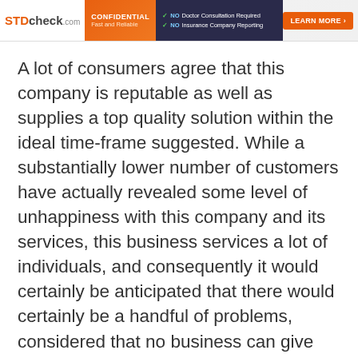[Figure (other): STDcheck.com advertisement banner with logo, orange confidential badge, dark background with NO Doctor Consultation Required and NO Insurance Company Reporting checkmarks, and orange LEARN MORE button]
A lot of consumers agree that this company is reputable as well as supplies a top quality solution within the ideal time-frame suggested. While a substantially lower number of customers have actually revealed some level of unhappiness with this company and its services, this business services a lot of individuals, and consequently it would certainly be anticipated that there would certainly be a handful of problems, considered that no business can give 100% customer solution all the time.